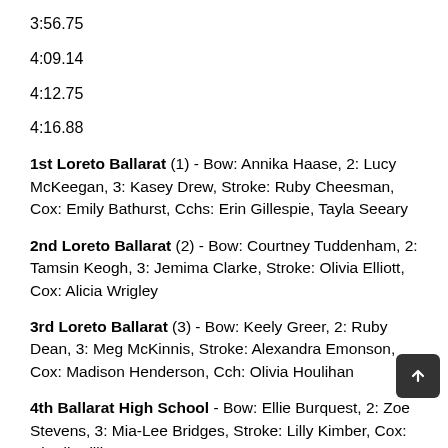3:56.75
4:09.14
4:12.75
4:16.88
1st Loreto Ballarat (1) - Bow: Annika Haase, 2: Lucy McKeegan, 3: Kasey Drew, Stroke: Ruby Cheesman, Cox: Emily Bathurst, Cchs: Erin Gillespie, Tayla Seeary
2nd Loreto Ballarat (2) - Bow: Courtney Tuddenham, 2: Tamsin Keogh, 3: Jemima Clarke, Stroke: Olivia Elliott, Cox: Alicia Wrigley
3rd Loreto Ballarat (3) - Bow: Keely Greer, 2: Ruby Dean, 3: Meg McKinnis, Stroke: Alexandra Emonson, Cox: Madison Henderson, Cch: Olivia Houlihan
4th Ballarat High School - Bow: Ellie Burquest, 2: Zoe Stevens, 3: Mia-Lee Bridges, Stroke: Lilly Kimber, Cox: Charli Williams
5th Ballarat Grammar School - Bow: Madeline Holland, 2: